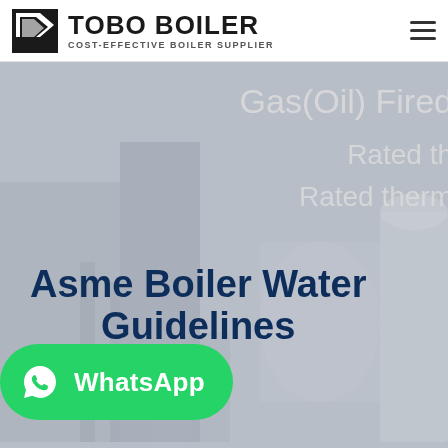[Figure (logo): TOBO BOILER logo with icon and text 'COST-EFFECTIVE BOILER SUPPLIER']
[Figure (photo): Background photo of industrial gas/oil fired boiler equipment, grayed out]
Gas(Oil) Fired
Rated th
Rated therm
Asme Boiler Water Guidelines
[Figure (other): WhatsApp contact button in green with WhatsApp icon and 'WhatsApp' text]